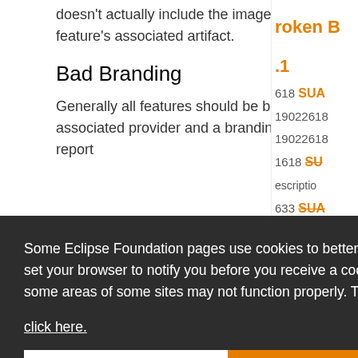doesn't actually include the image in the feature's associated artifact.
Bad Branding
Generally all features should be brand with an associated provider and a branding image. The report
Some Eclipse Foundation pages use cookies to better serve you when you return to the site. You can set your browser to notify you before you receive a cookie or turn off cookies. If you do so, however, some areas of some sites may not function properly. To read Eclipse Foundation Privacy Policy click here.
Decline | Allow cookies
ATL - ATL Transformation Language 4.1.0.v